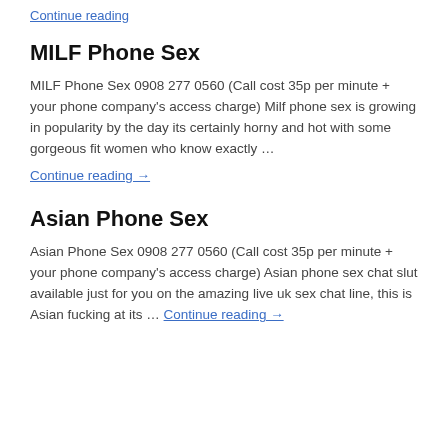Continue reading →
MILF Phone Sex
MILF Phone Sex 0908 277 0560 (Call cost 35p per minute + your phone company's access charge) Milf phone sex is growing in popularity by the day its certainly horny and hot with some gorgeous fit women who know exactly …
Continue reading →
Asian Phone Sex
Asian Phone Sex 0908 277 0560 (Call cost 35p per minute + your phone company's access charge) Asian phone sex chat slut available just for you on the amazing live uk sex chat line, this is Asian fucking at its … Continue reading →